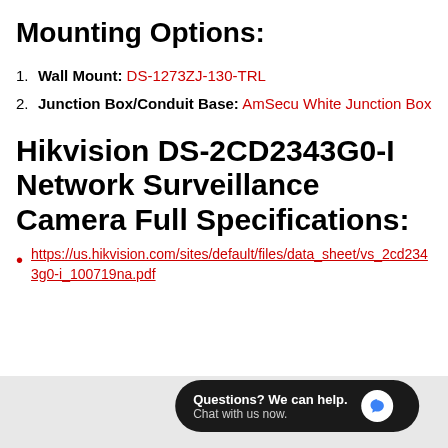Mounting Options:
Wall Mount: DS-1273ZJ-130-TRL
Junction Box/Conduit Base: AmSecu White Junction Box
Hikvision DS-2CD2343G0-I Network Surveillance Camera Full Specifications:
https://us.hikvision.com/sites/default/files/data_sheet/vs_2cd2343g0-i_100719na.pdf